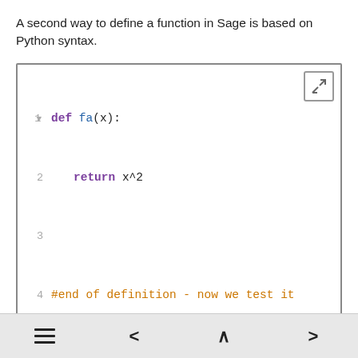A second way to define a function in Sage is based on Python syntax.
[Figure (screenshot): Code editor block showing Python/Sage syntax: line 1: def fa(x):, line 2: return x^2, line 3: empty, line 4: #end of definition - now we test it, line 5: [fa(2),fa(1.2)], with an expand icon in the top right corner]
Evaluate (Sage)
7.1.4 Non-Functions
We close this section with two examples of relations that are not functions.
Example 7.1.10.   A non-function.